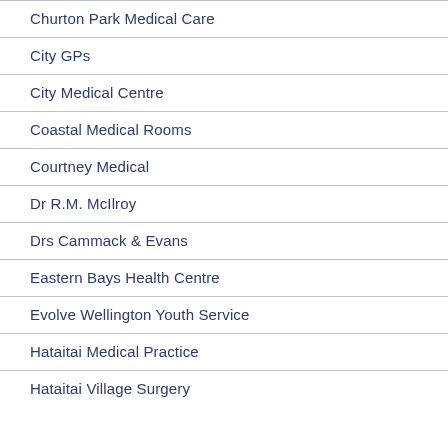Churton Park Medical Care
City GPs
City Medical Centre
Coastal Medical Rooms
Courtney Medical
Dr R.M. McIlroy
Drs Cammack & Evans
Eastern Bays Health Centre
Evolve Wellington Youth Service
Hataitai Medical Practice
Hataitai Village Surgery